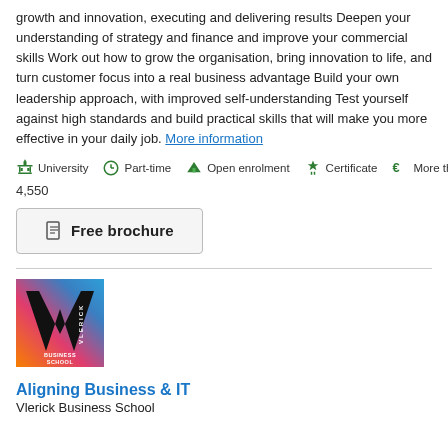growth and innovation, executing and delivering results Deepen your understanding of strategy and finance and improve your commercial skills Work out how to grow the organisation, bring innovation to life, and turn customer focus into a real business advantage Build your own leadership approach, with improved self-understanding Test yourself against high standards and build practical skills that will make you more effective in your daily job. More information
University | Part-time | Open enrolment | Certificate | More than € 4,550
4,550
Free brochure
[Figure (logo): Vlerick Business School logo — colorful gradient background with large V letter and VLERICK BUSINESS SCHOOL text]
Aligning Business & IT
Vlerick Business School